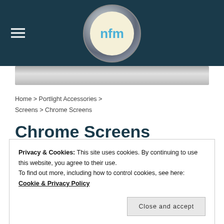[Figure (logo): NFM portlight logo — circular porthole with chrome ring and blue n-f-m letters inside on cream background, on dark teal header]
[Figure (photo): Grayscale banner image with metallic/chrome gradient effect]
Home > Portlight Accessories > Screens > Chrome Screens
Chrome Screens
Privacy & Cookies: This site uses cookies. By continuing to use this website, you agree to their use.
To find out more, including how to control cookies, see here: Cookie & Privacy Policy
Close and accept